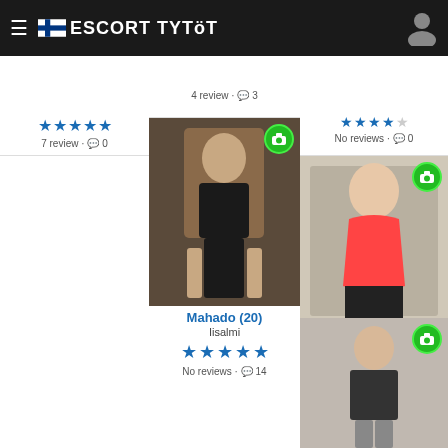ESCORT TYTÖT
[Figure (screenshot): Partial card top-left: 5 blue stars, 7 review · 0 comments]
[Figure (screenshot): Partial card top-center: 4 review · 3 comments]
[Figure (screenshot): Partial card top-right: 4 blue stars + 1 empty, No reviews · 0 comments]
[Figure (photo): Mahado (20) profile photo, woman in black corset dress]
Mahado (20)
Iisalmi
No reviews · 14
[Figure (photo): Hysa (18) profile photo, woman in red and black lingerie]
Hysa (18)
Iisalmi
1 review · 0
[Figure (photo): Partial bottom-right card photo, woman in dark lingerie]